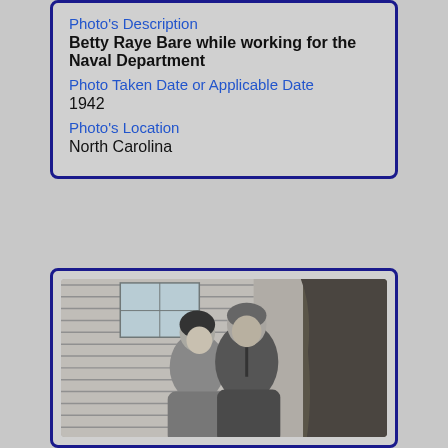Photo's Description
Betty Raye Bare while working for the Naval Department
Photo Taken Date or Applicable Date
1942
Photo's Location
North Carolina
[Figure (photo): Black and white photograph of a man and woman standing outdoors in front of a house with siding and a tree visible on the right side.]